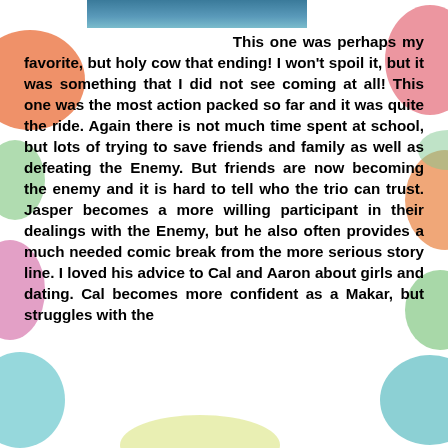[Figure (photo): Partial photo visible at top of page, showing colorful image content]
This one was perhaps my favorite, but holy cow that ending!  I won't spoil it, but it was something that I did not see coming at all!  This one was the most action packed so far and it was quite the ride.  Again there is not much time spent at school, but lots of trying to save friends and family as well as defeating the Enemy.  But friends are now becoming the enemy and it is hard to tell who the trio can trust.  Jasper becomes a more willing participant in their dealings with the Enemy, but he also often provides a much needed comic break from the more serious story line.  I loved his advice to Cal and Aaron about girls and dating.  Cal becomes more confident as a Makar, but struggles with the